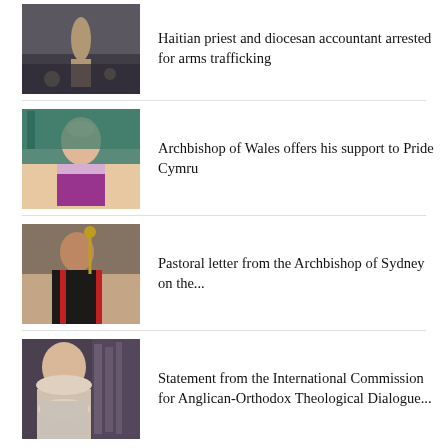[Figure (photo): Person standing in smoky/conflict scene]
Haitian priest and diocesan accountant arrested for arms trafficking
[Figure (photo): Archbishop smiling, wearing purple vestments and bishop's collar]
Archbishop of Wales offers his support to Pride Cymru
[Figure (photo): Archbishop holding a ceremonial staff]
Pastoral letter from the Archbishop of Sydney on the...
[Figure (photo): Elderly man with long white beard]
Statement from the International Commission for Anglican-Orthodox Theological Dialogue...